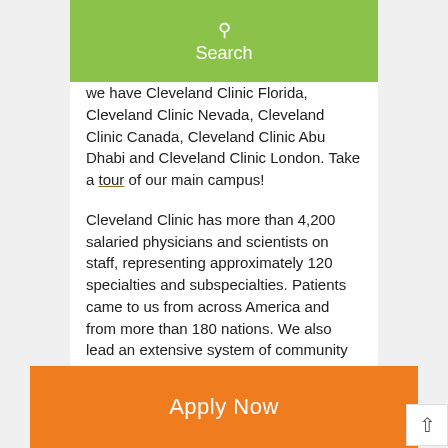Search
we have Cleveland Clinic Florida, Cleveland Clinic Nevada, Cleveland Clinic Canada, Cleveland Clinic Abu Dhabi and Cleveland Clinic London. Take a tour of our main campus!
Cleveland Clinic has more than 4,200 salaried physicians and scientists on staff, representing approximately 120 specialties and subspecialties. Patients came to us from across America and from more than 180 nations. We also lead an extensive system of community hospitals in Northeast Ohio called the Cleveland Clinic Hospitals.
This system is made up of Cleveland Clinic
Apply Now